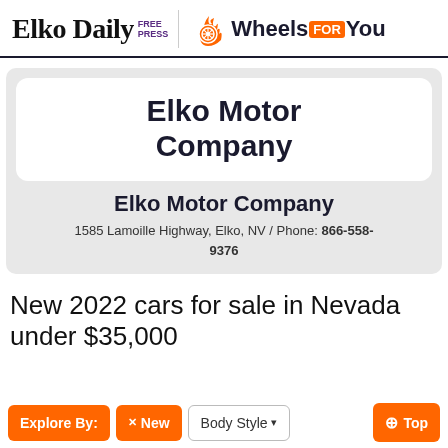Elko Daily FREE PRESS | Wheels FOR You
Elko Motor Company
Elko Motor Company
1585 Lamoille Highway, Elko, NV / Phone: 866-558-9376
New 2022 cars for sale in Nevada under $35,000
Explore By:
✕ New
Body Style ▾
⊕ Top